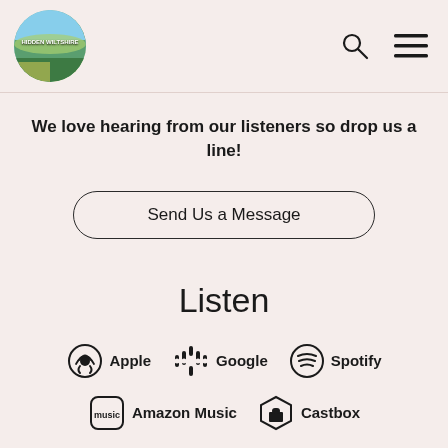[Figure (logo): Hidden Wiltshire circular logo with landscape photo]
We love hearing from our listeners so drop us a line!
Send Us a Message
Listen
[Figure (infographic): Podcast platform icons and names: Apple, Google, Spotify, Amazon Music, Castbox]